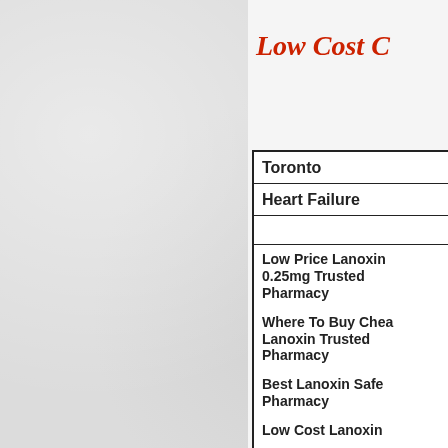Low Cost C
| Toronto |
| Heart Failure |
|  |
| Low Price Lanoxin 0.25mg Trusted Pharmacy |
| Where To Buy Chea Lanoxin Trusted Pharmacy |
| Best Lanoxin Safe Pharmacy |
| Low Cost Lanoxin |
| Can I Get Lanoxin Pharmacy |